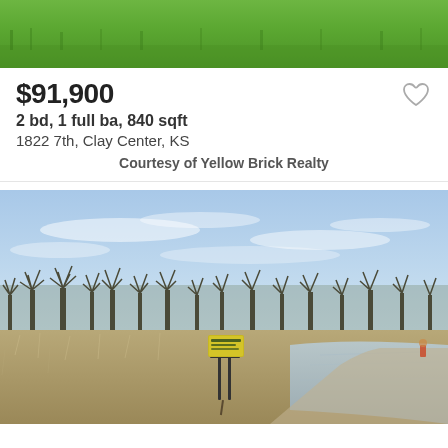[Figure (photo): Top photo showing green grass lawn, cropped to a strip at the top of the listing card]
$91,900
2 bd, 1 full ba, 840 sqft
1822 7th, Clay Center, KS
Courtesy of Yellow Brick Realty
[Figure (photo): Outdoor photo of a vacant lot near a lake or pond with bare winter trees in background, a real estate sign in the foreground, and a gravel/dirt path curving to the right under a blue sky with wispy clouds]